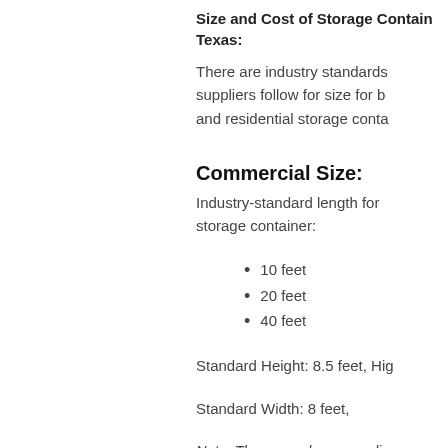Size and Cost of Storage Containers in Texas:
There are industry standards suppliers follow for size for b and residential storage conta
Commercial Size:
Industry-standard length for storage container:
10 feet
20 feet
40 feet
Standard Height: 8.5 feet, Hig
Standard Width: 8 feet,
Note: There may be some slig between suppliers. These are dimensions recognized indus